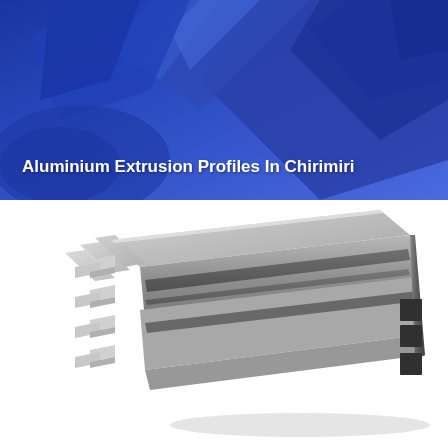[Figure (illustration): Blue gradient banner background with 3D geometric angular shapes resembling aluminum extrusion cross-sections in darker blue tones. Bold white text overlaid reading 'Aluminium Extrusion Profiles In Chirimiri'.]
Aluminium Extrusion Profiles In Chirimiri
[Figure (photo): Product photo of a silver/grey aluminium extrusion profile bar viewed at an angle, showing T-slot rails and rectangular hollow square cross-sections at the end. The profile is long and narrow with multiple channels.]